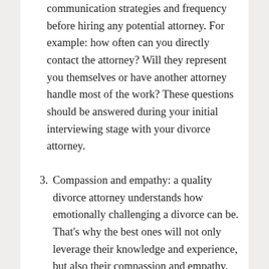communication strategies and frequency before hiring any potential attorney. For example: how often can you directly contact the attorney? Will they represent you themselves or have another attorney handle most of the work? These questions should be answered during your initial interviewing stage with your divorce attorney.
3. Compassion and empathy: a quality divorce attorney understands how emotionally challenging a divorce can be. That's why the best ones will not only leverage their knowledge and experience, but also their compassion and empathy. Following an initial interview, the level of compassion should be apparent with your potential attorney. Compassion becomes even more important when dealing with family issues, such as potential child support cases, where the entire family is involved. A good divorce attorney